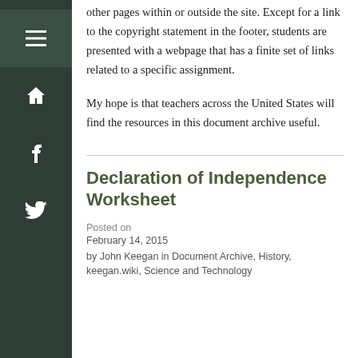other pages within or outside the site. Except for a link to the copyright statement in the footer, students are presented with a webpage that has a finite set of links related to a specific assignment.
My hope is that teachers across the United States will find the resources in this document archive useful.
Declaration of Independence Worksheet
Posted on
February 14, 2015
by John Keegan in Document Archive, History, keegan.wiki, Science and Technology